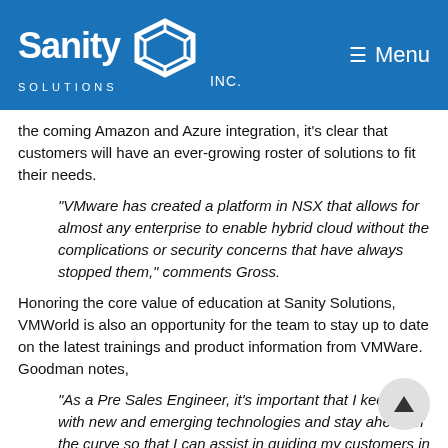Sanity Solutions Inc. — Menu
the coming Amazon and Azure integration, it's clear that customers will have an ever-growing roster of solutions to fit their needs.
“VMware has created a platform in NSX that allows for almost any enterprise to enable hybrid cloud without the complications or security concerns that have always stopped them,” comments Gross.
Honoring the core value of education at Sanity Solutions, VMWorld is also an opportunity for the team to stay up to date on the latest trainings and product information from VMWare. Goodman notes,
“As a Pre Sales Engineer, it’s important that I keep up with new and emerging technologies and stay ahead of the curve so that I can assist in guiding my customers in the best way that I can.” Gross seconded that notion, “From a training perspective, this is always one of the best pla… get an education on VMware and any of its ecosystem partners. There are tons of opportunities for labs and